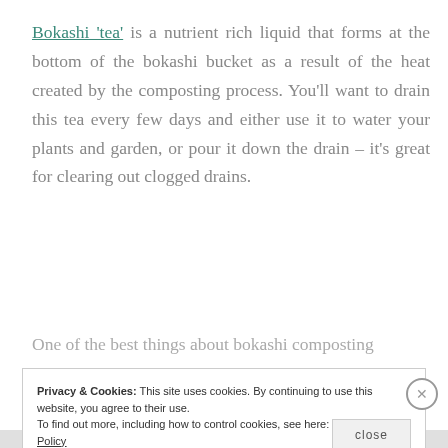Bokashi 'tea' is a nutrient rich liquid that forms at the bottom of the bokashi bucket as a result of the heat created by the composting process. You'll want to drain this tea every few days and either use it to water your plants and garden, or pour it down the drain – it's great for clearing out clogged drains.
One of the best things about bokashi composting
Privacy & Cookies: This site uses cookies. By continuing to use this website, you agree to their use.
To find out more, including how to control cookies, see here: Our Cookie Policy
close